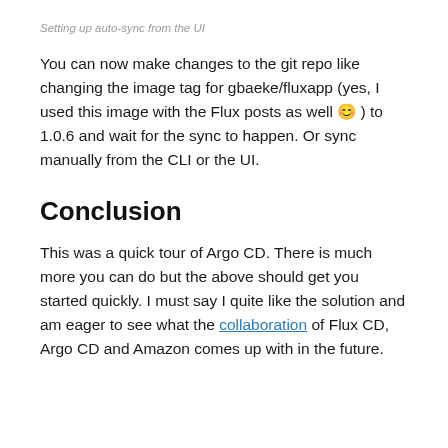Setting up auto-sync from the UI
You can now make changes to the git repo like changing the image tag for gbaeke/fluxapp (yes, I used this image with the Flux posts as well 😊 ) to 1.0.6 and wait for the sync to happen. Or sync manually from the CLI or the UI.
Conclusion
This was a quick tour of Argo CD. There is much more you can do but the above should get you started quickly. I must say I quite like the solution and am eager to see what the collaboration of Flux CD, Argo CD and Amazon comes up with in the future.